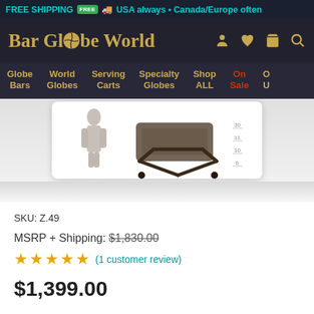FREE SHIPPING FREE [truck icon] USA always • Canada/Europe often
Bar Globe World
Globe Bars | World Globes | Serving Carts | Specialty Globes | Shop ALL | On Sale | O U
[Figure (photo): Product image of a serving cart with a bar globe, shown on white background with measurement scale on right side]
SKU: Z.49
MSRP + Shipping: $1,830.00 (strikethrough)
★★★★★ (1 customer review)
$1,399.00